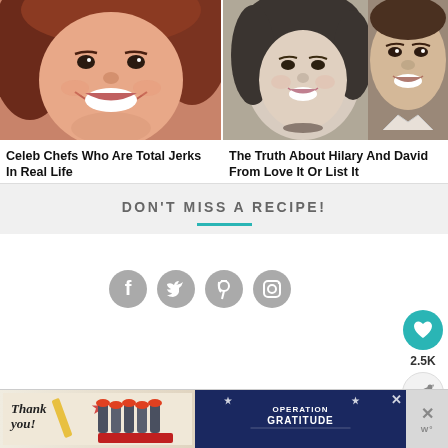[Figure (photo): Close-up photo of a smiling woman with reddish-brown hair (celebrity chef)]
Celeb Chefs Who Are Total Jerks In Real Life
[Figure (photo): Photo of a woman and man smiling (Hilary and David from Love It Or List It)]
The Truth About Hilary And David From Love It Or List It
DON'T MISS A RECIPE!
[Figure (infographic): Social media icons: Facebook, Twitter, Pinterest, Instagram (grey circles)]
[Figure (infographic): Heart button (teal), 2.5K count, share button on right sidebar]
[Figure (infographic): Advertisement banner: Thank you Operation Gratitude with firefighters photo]